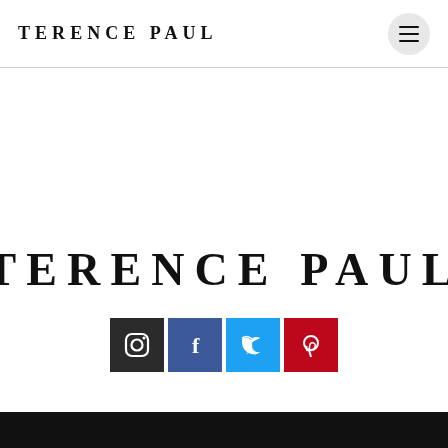TERENCE PAUL
[Figure (logo): Large TERENCE PAUL brand name centered on page]
[Figure (infographic): Four social media icons: Instagram (black), Facebook (dark blue), Twitter (light blue), Pinterest (red)]